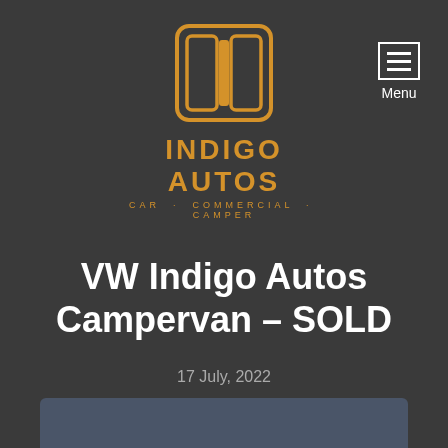[Figure (logo): Indigo Autos logo: a rounded square icon with two vertical panels in gold/amber outline on dark background, with text INDIGO AUTOS and CAR · COMMERCIAL · CAMPER below]
[Figure (other): Menu button icon: three horizontal lines inside a square border, with Menu text below]
VW Indigo Autos Campervan – SOLD
17 July, 2022
[Figure (photo): Bottom portion of a dark blue/slate colored vehicle photo, partially visible at the bottom of the page]